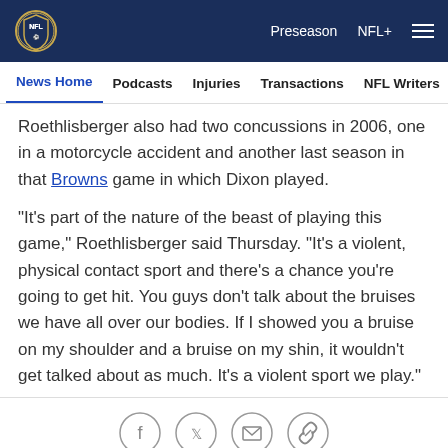NFL | Preseason  NFL+  Menu
News Home  Podcasts  Injuries  Transactions  NFL Writers  Se
Roethlisberger also had two concussions in 2006, one in a motorcycle accident and another last season in that Browns game in which Dixon played.
"It's part of the nature of the beast of playing this game," Roethlisberger said Thursday. "It's a violent, physical contact sport and there's a chance you're going to get hit. You guys don't talk about the bruises we have all over our bodies. If I showed you a bruise on my shoulder and a bruise on my shin, it wouldn't get talked about as much. It's a violent sport we play."
[Figure (other): Social sharing icons: Facebook, Twitter, Email, Link]